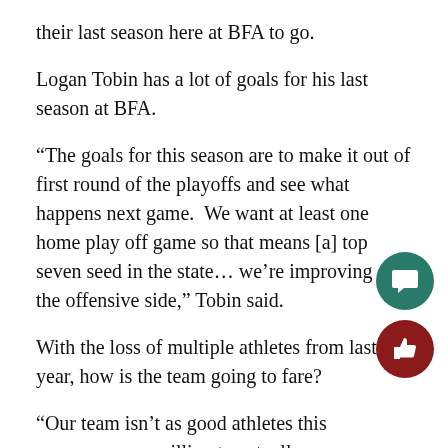their last season here at BFA to go.
Logan Tobin has a lot of goals for his last season at BFA.
“The goals for this season are to make it out of first round of the playoffs and see what happens next game.  We want at least one home play off game so that means [a] top seven seed in the state… we’re improving on the offensive side,” Tobin said.
With the loss of multiple athletes from last year, how is the team going to fare?
“Our team isn’t as good athletes this year so we are willing to actually commit to the offense and it’s working.  So far we’ve beaten Essex and Fairfax in scrimmages and we play Burlington in our final scrimmage this Saturday,” Tobin said.
Jens Ulrich-Verderber (’18) played center last year and now